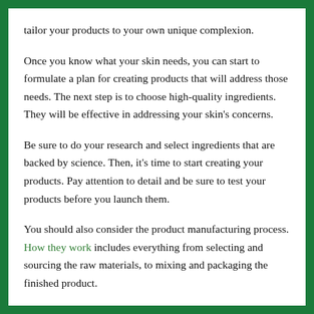tailor your products to your own unique complexion.
Once you know what your skin needs, you can start to formulate a plan for creating products that will address those needs. The next step is to choose high-quality ingredients. They will be effective in addressing your skin's concerns.
Be sure to do your research and select ingredients that are backed by science. Then, it's time to start creating your products. Pay attention to detail and be sure to test your products before you launch them.
You should also consider the product manufacturing process. How they work includes everything from selecting and sourcing the raw materials, to mixing and packaging the finished product.